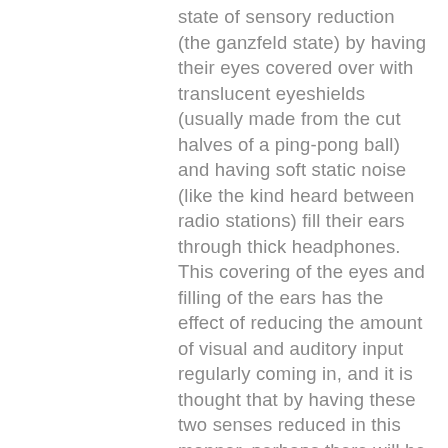state of sensory reduction (the ganzfeld state) by having their eyes covered over with translucent eyeshields (usually made from the cut halves of a ping-pong ball) and having soft static noise (like the kind heard between radio stations) fill their ears through thick headphones. This covering of the eyes and filling of the ears has the effect of reducing the amount of visual and auditory input regularly coming in, and it is thought that by having these two senses reduced in this manner, perhaps there will be a greater chance for telepathic information (which is ordinarily "drowned out" by our primary senses) to enter into our consciousness. [For a broader overview of the ganzfeld technique, see Ref. 3.]